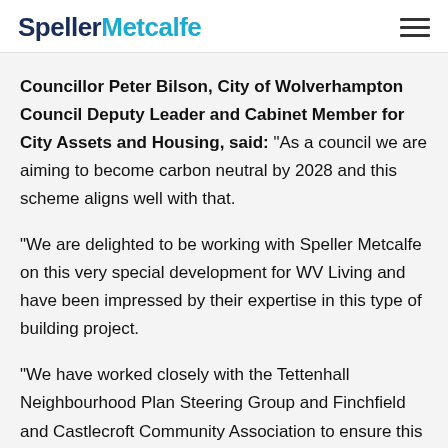SpellerMetcalfe
Councillor Peter Bilson, City of Wolverhampton Council Deputy Leader and Cabinet Member for City Assets and Housing, said: “As a council we are aiming to become carbon neutral by 2028 and this scheme aligns well with that.
“We are delighted to be working with Speller Metcalfe on this very special development for WV Living and have been impressed by their expertise in this type of building project.
“We have worked closely with the Tettenhall Neighbourhood Plan Steering Group and Finchfield and Castlecroft Community Association to ensure this small